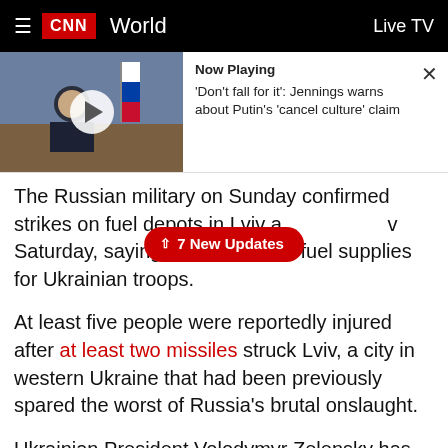CNN World  Live TV
[Figure (screenshot): CNN video player thumbnail showing a man in a suit at a meeting table, with Russian flags in background. 'Now Playing' panel to the right showing title: "'Don't fall for it': Jennings warns about Putin's 'cancel culture' claim"]
The Russian military on Sunday confirmed strikes on fuel depots in Lviv and nearby Saturday, saying it had targeted fuel supplies for Ukrainian troops.
At least five people were reportedly injured after at least two missiles struck Lviv, a city in western Ukraine that had been previously spared the worst of Russia's brutal onslaught.
Ukrainian President Volodymyr Zelensky has repeated his plea to international partners for stronger military assistance, saying his country is only asking for 1% of NATO's tanks and planes. In a video message posted to